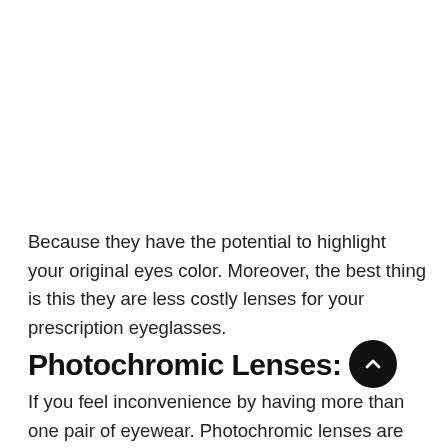Because they have the potential to highlight your original eyes color. Moreover, the best thing is this they are less costly lenses for your prescription eyeglasses.
Photochromic Lenses:
If you feel inconvenience by having more than one pair of eyewear. Photochromic lenses are well-known as transition lenses are the perfect solution to your